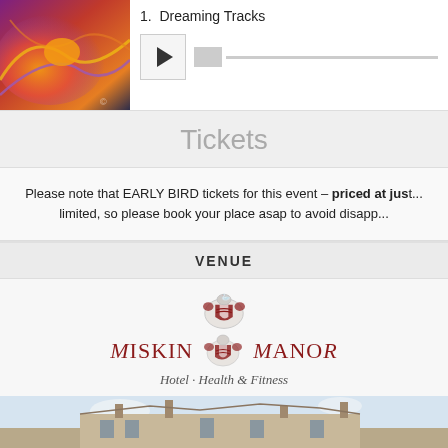[Figure (illustration): Colorful abstract painting used as album art, with swirling orange, red, and purple tones]
1.  Dreaming Tracks
[Figure (screenshot): Audio player play button and progress bar]
Tickets
Please note that EARLY BIRD tickets for this event – priced at just... limited, so please book your place asap to avoid disapp...
VENUE
[Figure (logo): Miskin Manor Hotel · Health & Fitness logo with heraldic crest]
[Figure (photo): Photo of Miskin Manor building exterior showing stone architecture against a light sky]